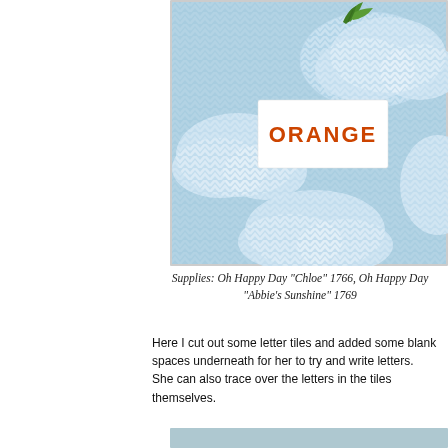[Figure (photo): Photo of a craft activity showing light blue chevron-patterned cloud cut-outs on a light blue background, with a small green leaf/plant element at the top, and a white rectangular card in the center displaying the word 'ORANGE' in bold orange letters.]
Supplies: Oh Happy Day "Chloe" 1766, Oh Happy Day "Abbie's Sunshine" 1769
Here I cut out some letter tiles and added some blank spaces underneath for her to try and write letters.  She can also trace over the letters in the tiles themselves.
[Figure (photo): Partially visible photo at the bottom of the page.]